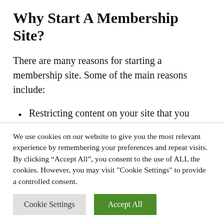Why Start A Membership Site?
There are many reasons for starting a membership site. Some of the main reasons include:
Restricting content on your site that you want to share only with members of an organization or a certain group from being
We use cookies on our website to give you the most relevant experience by remembering your preferences and repeat visits. By clicking “Accept All”, you consent to the use of ALL the cookies. However, you may visit "Cookie Settings" to provide a controlled consent.